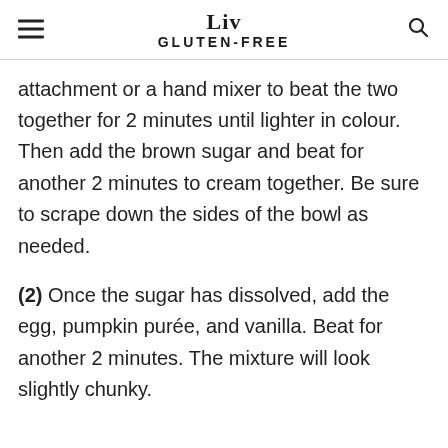Liv GLUTEN-FREE
attachment or a hand mixer to beat the two together for 2 minutes until lighter in colour. Then add the brown sugar and beat for another 2 minutes to cream together. Be sure to scrape down the sides of the bowl as needed.
(2) Once the sugar has dissolved, add the egg, pumpkin purée, and vanilla. Beat for another 2 minutes. The mixture will look slightly chunky.